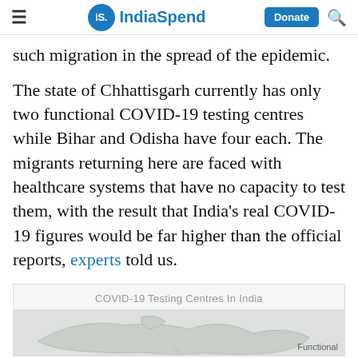IndiaSpend — Donate
such migration in the spread of the epidemic.
The state of Chhattisgarh currently has only two functional COVID-19 testing centres while Bihar and Odisha have four each. The migrants returning here are faced with healthcare systems that have no capacity to test them, with the result that India's real COVID-19 figures would be far higher than the official reports, experts told us.
[Figure (map): COVID-19 Testing Centres In India — map of India showing testing centres, partially visible. Legend label 'Functional' visible at bottom right.]